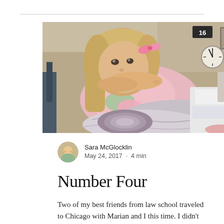[Figure (photo): A young blonde girl in a pink outfit lying in what appears to be a hospital bed, resting her head on her hands, looking at the camera. A clock showing number 16 is visible in the upper right background.]
Sara McGlocklin
May 24, 2017 · 4 min
Number Four
Two of my best friends from law school traveled to Chicago with Marian and I this time. I didn't realize how much I